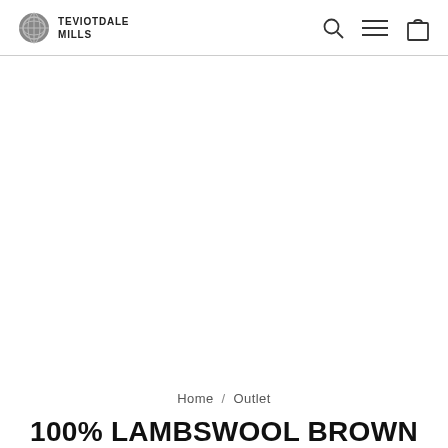TEVIOTDALE MILLS
Home / Outlet
100% LAMBSWOOL BROWN